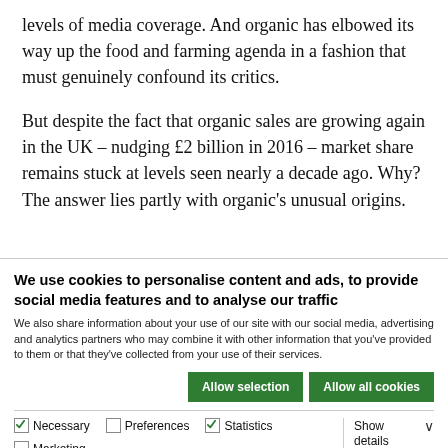levels of media coverage. And organic has elbowed its way up the food and farming agenda in a fashion that must genuinely confound its critics.
But despite the fact that organic sales are growing again in the UK – nudging £2 billion in 2016 – market share remains stuck at levels seen nearly a decade ago. Why? The answer lies partly with organic's unusual origins.
We use cookies to personalise content and ads, to provide social media features and to analyse our traffic
We also share information about your use of our site with our social media, advertising and analytics partners who may combine it with other information that you've provided to them or that they've collected from your use of their services.